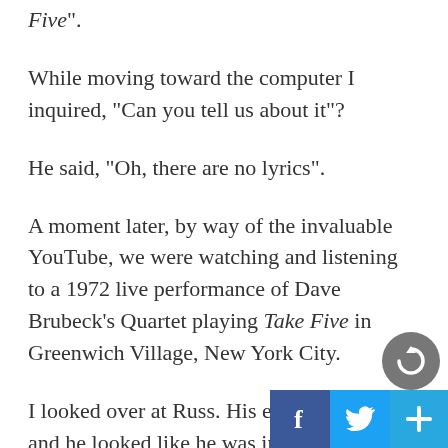Five”.
While moving toward the computer I inquired, “Can you tell us about it”?
He said, “Oh, there are no lyrics”.
A moment later, by way of the invaluable YouTube, we were watching and listening to a 1972 live performance of Dave Brubeck’s Quartet playing Take Five in Greenwich Village, New York City.
I looked over at Russ. His eyes were closed and he looked like he was in bliss. When the song ended, with eyes still closed, he